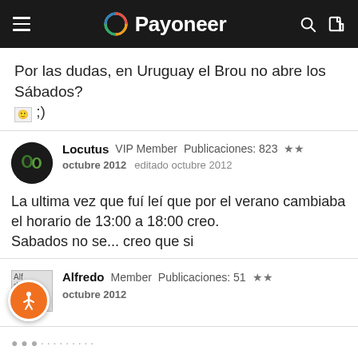Payoneer
Por las dudas, en Uruguay el Brou no abre los Sábados? ;)
Locutus  VIP Member  Publicaciones: 823  ★★
octu​bre 2012   editado octubre 2012
La ultima vez que fuí leí que por el verano cambiaba el horario de 13:00 a 18:00 creo.
Sabados no se... creo que si
Alfredo  Member  Publicaciones: 51  ★★
octubre 2012